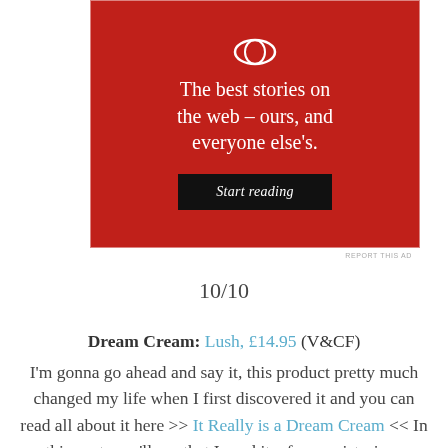[Figure (other): Advertisement banner with red background, circular logo at top, tagline 'The best stories on the web – ours, and everyone else's.' and a black 'Start reading' button]
REPORT THIS AD
10/10
Dream Cream: Lush, £14.95 (V&CF) I'm gonna go ahead and say it, this product pretty much changed my life when I first discovered it and you can read all about it here >> It Really is a Dream Cream << In this post, you'll see that I used it a face moisturiser, makeup base and everything in